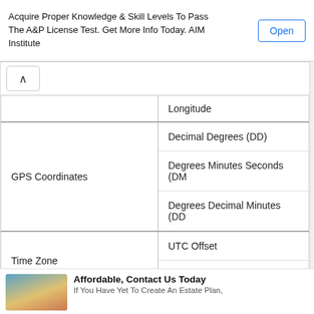Acquire Proper Knowledge & Skill Levels To Pass The A&P License Test. Get More Info Today. AIM Institute
| Category | Sub-item |
| --- | --- |
|  | Longitude |
| GPS Coordinates | Decimal Degrees (DD) |
| GPS Coordinates | Degrees Minutes Seconds (DMS) |
| GPS Coordinates | Degrees Decimal Minutes (DDM) |
| Time Zone | UTC Offset |
| Time Zone | Daylight Saving Time (DST) |
| Country Codes ISO-3166 | Two Letter |
| Country Codes ISO-3166 | Three Letter |
| Country Codes ISO-3166 | Numeric |
Affordable, Contact Us Today
If You Have Yet To Create An Estate Plan,